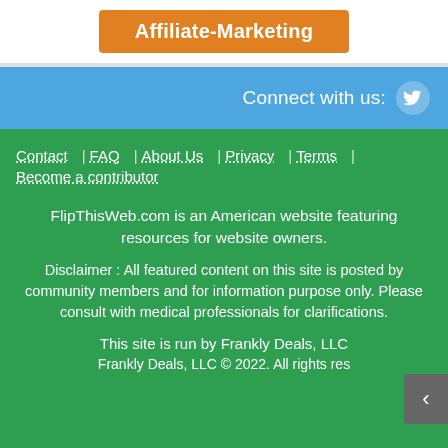[Figure (other): Orange button labeled 'Affiliate-Marketing']
Connect with us:
Contact | FAQ | About Us | Privacy | Terms | Become a contributor
FlipThisWeb.com is an American website featuring resources for website owners.
Disclaimer : All featured content on this site is posted by community members and for information purpose only. Please consult with medical professionals for clarifications.
This site is run by Frankly Deals, LLC
Frankly Deals, LLC © 2022. All rights reserved.